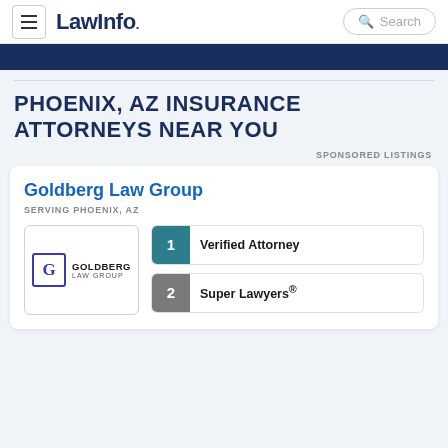LawInfo. Search
PHOENIX, AZ INSURANCE ATTORNEYS NEAR YOU
SPONSORED LISTINGS
Goldberg Law Group
SERVING PHOENIX, AZ
[Figure (logo): Goldberg Law Group logo with G monogram in blue box and text]
1 Verified Attorney
2 Super Lawyers®